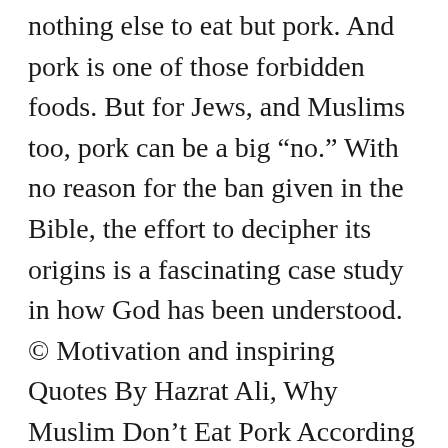nothing else to eat but pork. And pork is one of those forbidden foods. But for Jews, and Muslims too, pork can be a big “no.” With no reason for the ban given in the Bible, the effort to decipher its origins is a fascinating case study in how God has been understood. © Motivation and inspiring Quotes By Hazrat Ali, Why Muslim Don’t Eat Pork According To Islam, Everything You Wanted to Know About RELATIVES QUOTES, New Best sustenance Quotes and Sayings In Islam, Begging quotes and saying in Islam By Hazrat ALi, Leniency And Gentleness quotes from | Hazrat Ali, All you want to read about Desire and Longing quotes, Top 62 Quotes on Renunciation | best spiritual sayings, 42 best inspiring leniency quotes and